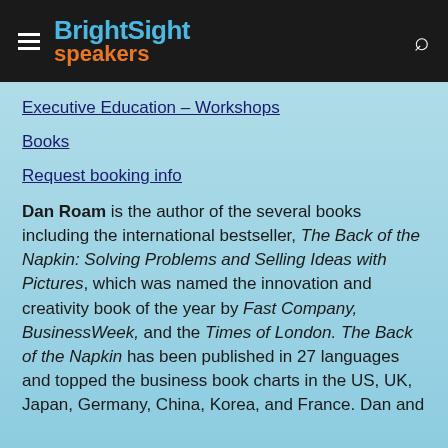BrightSight speakers
Executive Education – Workshops
Books
Request booking info
Dan Roam is the author of the several books including the international bestseller, The Back of the Napkin: Solving Problems and Selling Ideas with Pictures, which was named the innovation and creativity book of the year by Fast Company, BusinessWeek, and the Times of London. The Back of the Napkin has been published in 27 languages and topped the business book charts in the US, UK, Japan, Germany, China, Korea, and France. Dan and